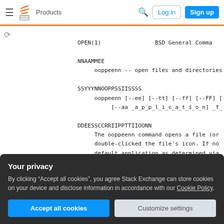Stack Overflow navigation bar with Products, Search, Log in, Sign up
OPEN(1)                BSD General Comma

NNAAMMEE
     ooppeenn -- open files and directories

SSYYNNOOPPSSIISSS
     ooppeenn [--ee] [--tt] [--ff] [--FF] [
          [--aa _a_p_p_l_i_c_a_t_i_o_n] _f_

DDEESSCCRRIIPPTTIIOONN
     The ooppeenn command opens a file (or
     double-clicked the file's icon. If no
     default application as determined via
     specified files.
Your privacy
By clicking "Accept all cookies", you agree Stack Exchange can store cookies on your device and disclose information in accordance with our Cookie Policy.
Accept all cookies   Customize settings
open * doc